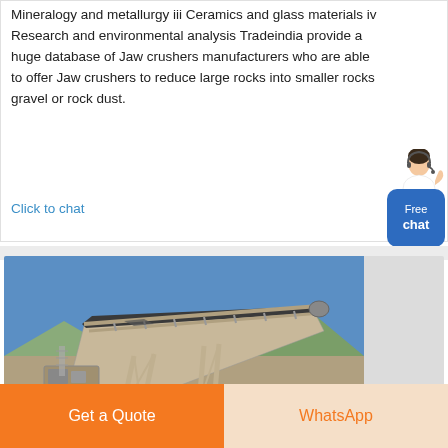Mineralogy and metallurgy iii Ceramics and glass materials iv Research and environmental analysis Tradeindia provide a huge database of Jaw crushers manufacturers who are able to offer Jaw crushers to reduce large rocks into smaller rocks gravel or rock dust.
Click to chat
[Figure (photo): Industrial conveyor belt system at a stone crushing facility, with metal framework and machinery against a blue sky and mountain backdrop]
Get a Quote
WhatsApp